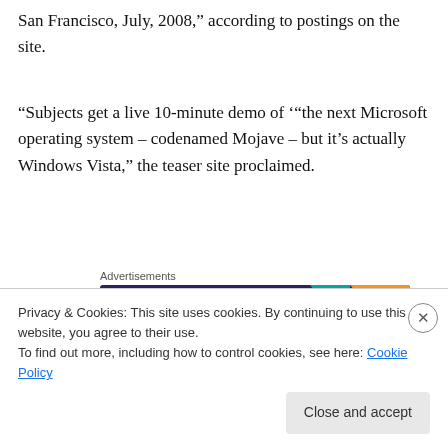San Francisco, July, 2008,” according to postings on the site.
“Subjects get a live 10-minute demo of ‘“the next Microsoft operating system – codenamed Mojave – but it’s actually Windows Vista,” the teaser site proclaimed.
[Figure (other): WooCommerce advertisement banner: dark purple background with teal and orange geometric shapes, WooCommerce logo on the left, text 'Turn your hobby into a business in 8 steps' on the right. Labeled 'Advertisements' above.]
More than 120 computer users viewed the “Mojave” demo,
Privacy & Cookies: This site uses cookies. By continuing to use this website, you agree to their use.
To find out more, including how to control cookies, see here: Cookie Policy